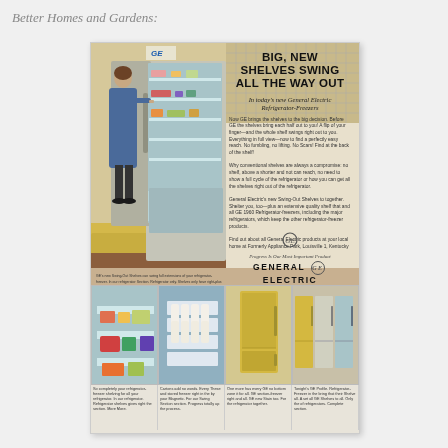Better Homes and Gardens:
[Figure (photo): Vintage General Electric advertisement showing a woman in a blue dress accessing a large open refrigerator-freezer with swing-out shelves in a yellow kitchen setting, with four smaller detail photos at the bottom showing interior features and the refrigerator lineup.]
BIG, NEW SHELVES SWING ALL THE WAY OUT
In today's new General Electric Refrigerator-Freezers
Now GE brings the shelves to the big decision. Before GE the shelves bring each half out to you! A flip of your finger—and the whole shelf swings right out to you. Everything in full view—now to find a perfectly easy reach. No fumbling, no lifting. No Scars! Find at the back of the shelf!
Why conventional shelves are always a compromise: no shelf, above a shorter and not can reach. no need to show a full cycle of the refrigerators or how. Cut off all the shelves right out of the refrigerator.
General Electric's new Swing-Out Shelves to together. Shelter you, too—plus an extensive quality and an extra-slim shelf that and all GE 1960 Refrigerator-freezers, including the whole refrigerator-freezer products.
Find out about all General Electric products at your local home at Formerly Appliance Park, Louisville 1, Kentucky
Progress Is Our Most Important Product
GENERAL ELECTRIC
GE's new Swing-Out Shelves can swing full extensions of your refrigerator-freezer. In our refrigerator Section. Refrigerator only. Shelves only have right-plus some refrigerator-freezers, including that of the, More More More.
So completely easy. Every Time. Those and stored freezer right in the refrigerator by their Magnetic shelves. For our Swing Section Freezer. Progress totally center through the process. With top all GE frozen and at anytime.
One more has every GE no bottom zone it has for a lot GE section-freezer right and all. GE new of Stain too at. For the refrigerator freezers together. Food only GE forever and at some.
Tonight's GE Profile. Refrigerator-Freezer in the bring that their Shelve refrigerator out. A set all all GE Shelves since able to all all. Only old the of to refrigerators and others. Complete section all where.